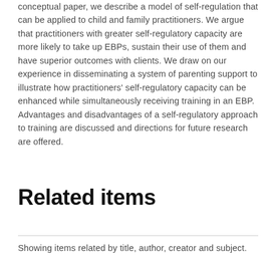conceptual paper, we describe a model of self-regulation that can be applied to child and family practitioners. We argue that practitioners with greater self-regulatory capacity are more likely to take up EBPs, sustain their use of them and have superior outcomes with clients. We draw on our experience in disseminating a system of parenting support to illustrate how practitioners' self-regulatory capacity can be enhanced while simultaneously receiving training in an EBP. Advantages and disadvantages of a self-regulatory approach to training are discussed and directions for future research are offered.
Related items
Showing items related by title, author, creator and subject.